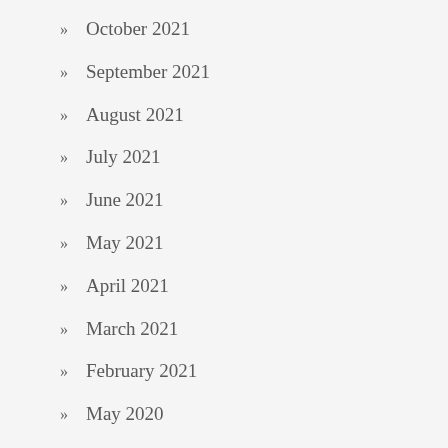October 2021
September 2021
August 2021
July 2021
June 2021
May 2021
April 2021
March 2021
February 2021
May 2020